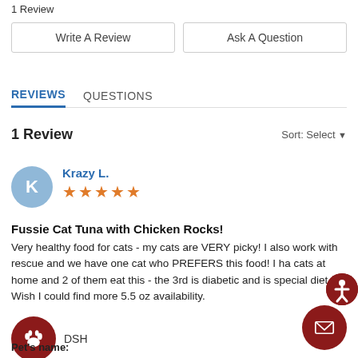1 Review
Write A Review
Ask A Question
REVIEWS   QUESTIONS
1 Review   Sort: Select
Krazy L.
★★★★★
Fussie Cat Tuna with Chicken Rocks!
Very healthy food for cats - my cats are VERY picky! I also work with rescue and we have one cat who PREFERS this food! I ha cats at home and 2 of them eat this - the 3rd is diabetic and is special diet. Wish I could find more 5.5 oz availability.
DSH
Pet's name: